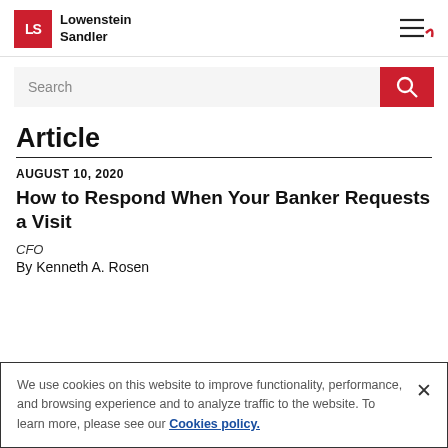[Figure (logo): Lowenstein Sandler logo with red LS box and firm name text]
[Figure (screenshot): Hamburger menu icon with red curl accent in top right]
[Figure (screenshot): Search bar with gray background and red search button with magnifying glass icon]
Article
AUGUST 10, 2020
How to Respond When Your Banker Requests a Visit
CFO
By Kenneth A. Rosen
We use cookies on this website to improve functionality, performance, and browsing experience and to analyze traffic to the website. To learn more, please see our Cookies policy.